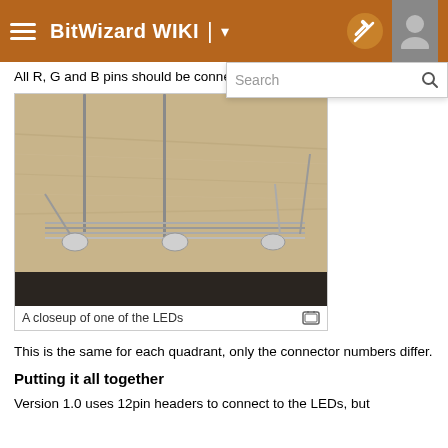BitWizard WIKI
All R, G and B pins should be connected in parallel.
[Figure (photo): A closeup photograph of one of the LEDs showing wires and solder connections on a wooden surface. The LED pins are connected in parallel with metal wires soldered together.]
A closeup of one of the LEDs
This is the same for each quadrant, only the connector numbers differ.
Putting it all together
Version 1.0 uses 12pin headers to connect to the LEDs, but